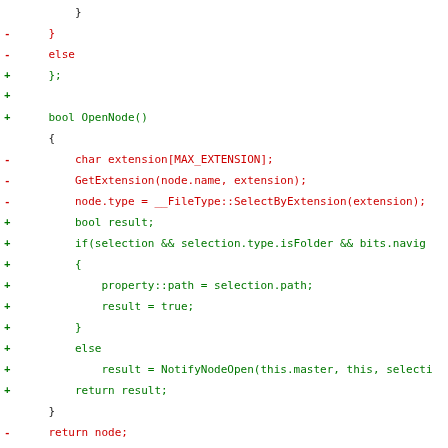[Figure (screenshot): Code diff view showing removed lines in red and added lines in green in a C++ source file, with - and + markers on the left margin.]